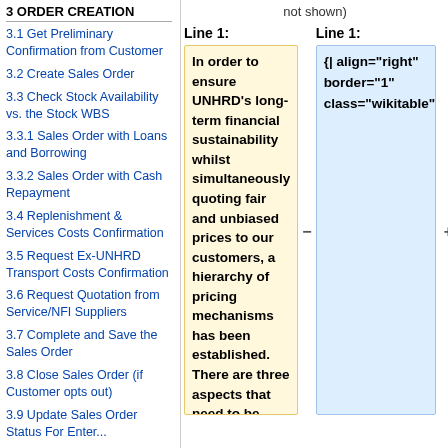not shown)
3 ORDER CREATION
3.1 Get Preliminary Confirmation from Customer
3.2 Create Sales Order
3.3 Check Stock Availability vs. the Stock WBS
3.3.1 Sales Order with Loans and Borrowing
3.3.2 Sales Order with Cash Repayment
3.4 Replenishment & Services Costs Confirmation
3.5 Request Ex-UNHRD Transport Costs Confirmation
3.6 Request Quotation from Service/NFI Suppliers
3.7 Complete and Save the Sales Order
3.8 Close Sales Order (if Customer opts out)
3.9 Update Sales Order Status For Enter...
Line 1:
Line 1:
In order to ensure UNHRD's long-term financial sustainability whilst simultaneously quoting fair and unbiased prices to our customers, a hierarchy of pricing mechanisms has been established. There are three aspects that need to be
{| align="right" border="1" class="wikitable"